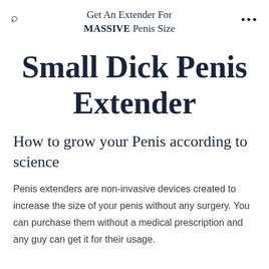Get An Extender For MASSIVE Penis Size
Small Dick Penis Extender
How to grow your Penis according to science
Penis extenders are non-invasive devices created to increase the size of your penis without any surgery. You can purchase them without a medical prescription and any guy can get it for their usage.